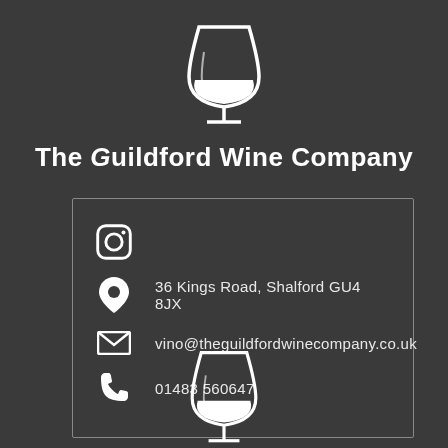[Figure (logo): Wine glass icon (top) with The Guildford Wine Company text]
The Guildford Wine Company
36 Kings Road, Shalford GU4 8JX
vino@theguildfordwinecompany.co.uk
01483 560647
[Figure (logo): Wine glass icon (bottom, partial)]